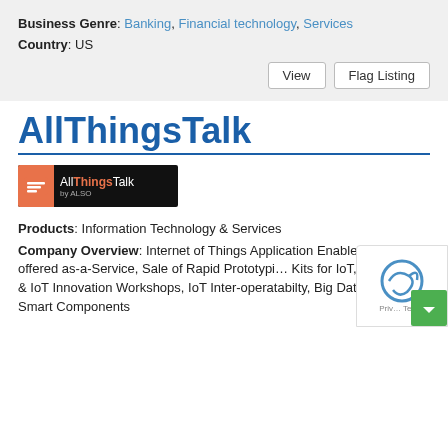Business Genre: Banking, Financial technology, Services
Country: US
[Figure (logo): AllThingsTalk by ALSO logo on black background with orange speech bubble icon]
Products: Information Technology & Services
Company Overview: Internet of Things Application Enablement offered as-a-Service, Sale of Rapid Prototyping Kits for IoT, Hackathons & IoT Innovation Workshops, IoT Inter-operatabilty, Big Data, and Smart Components